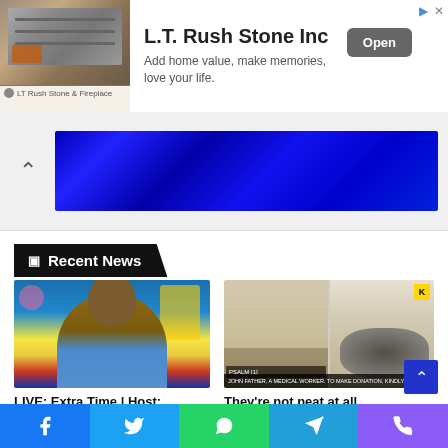[Figure (screenshot): L.T. Rush Stone Inc advertisement banner with fireplace/stone shelf image, company name, tagline 'Add home value, make memories, love your life.' and Open button]
[Figure (screenshot): Collapsed video section with up-arrow collapse button and a blue gradient banner/video player placeholder]
Recent News
[Figure (photo): Portrait photo of a smiling man in a checkered shirt against a colorful TV studio background]
LIVE: Extra Time | Host: Oheneba Michael Nyame |
[Figure (photo): Photo showing a room with debris/items on the floor and furniture, with overlaid text about a medical worker donation]
They're not neat at all, next time they will have...
Facebook | Twitter | WhatsApp | Telegram | Phone